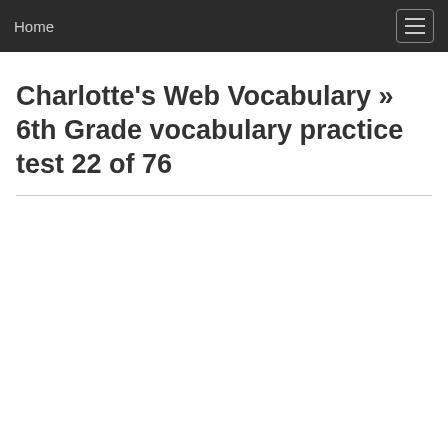Home
Charlotte's Web Vocabulary » 6th Grade vocabulary practice test 22 of 76